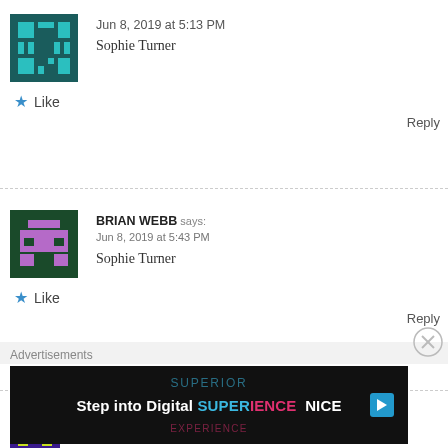[Figure (illustration): Pixel art avatar for first commenter, teal/dark teal grid pattern on dark teal background]
Jun 8, 2019 at 5:13 PM
Sophie Turner
★ Like
Reply
[Figure (illustration): Pixel art avatar for BRIAN WEBB, purple car/robot shape on dark green background]
BRIAN WEBB says:
Jun 8, 2019 at 5:43 PM
Sophie Turner
★ Like
Reply
[Figure (illustration): Pixel art avatar for DARREN HAY, yellow-green H letter pattern on dark purple background]
DARREN HAY says:
Jun 8, 2019 at 5:57 PM
Advertisements
[Figure (screenshot): Advertisement banner: Step into Digital SUPERIENCE NICE on black background]